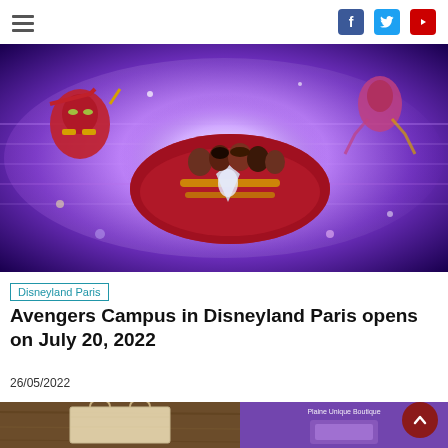≡  [Facebook] [Twitter] [YouTube]
[Figure (photo): Concept art of Avengers Campus ride at Disneyland Paris — Iron Man and Captain Marvel flying alongside a roller coaster vehicle shaped like an Iron Man suit, with riders inside, set against a glowing purple/blue energy background]
Disneyland Paris
Avengers Campus in Disneyland Paris opens on July 20, 2022
26/05/2022
[Figure (photo): Two partial images at bottom: left shows a tote bag on a wooden surface, right shows merchandise on a purple background with text 'Plaine Unique Boutique']